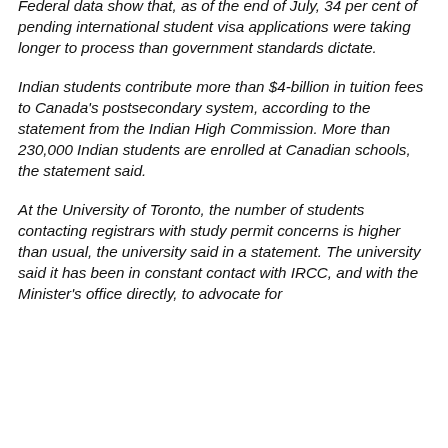Federal data show that, as of the end of July, 34 per cent of pending international student visa applications were taking longer to process than government standards dictate.
Indian students contribute more than $4-billion in tuition fees to Canada's postsecondary system, according to the statement from the Indian High Commission. More than 230,000 Indian students are enrolled at Canadian schools, the statement said.
At the University of Toronto, the number of students contacting registrars with study permit concerns is higher than usual, the university said in a statement. The university said it has been in constant contact with IRCC, and with the Minister's office directly, to advocate for